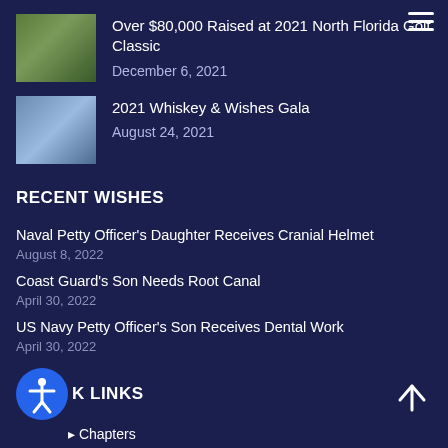Over $80,000 Raised at 2021 North Florida Golf Classic
December 6, 2021
2021 Whiskey & Wishes Gala
August 24, 2021
RECENT WISHES
Naval Petty Officer's Daughter Receives Cranial Helmet
August 8, 2022
Coast Guard's Son Needs Root Canal
April 30, 2022
US Navy Petty Officer's Son Receives Dental Work
April 30, 2022
QUICK LINKS
Chapters